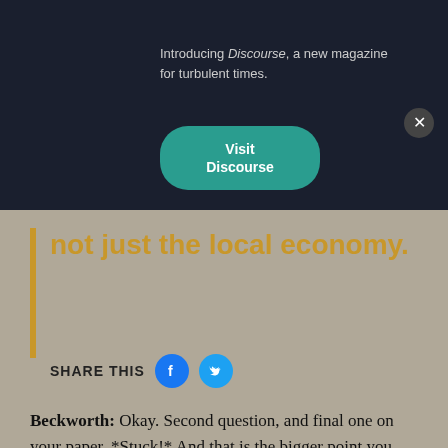[Figure (screenshot): Dark banner overlay with 'Introducing Discourse, a new magazine for turbulent times.' text, a teal 'Visit Discourse' button, and a close (X) button]
not just the local economy.
SHARE THIS
Beckworth: Okay. Second question, and final one on your paper, *Stuck!* And that is the bigger point you raised last time, and that is the decline in labor mobility, the decline in convergence among states' economic growth, has consequences for the United States as an optimal currency area. We're a long ways from